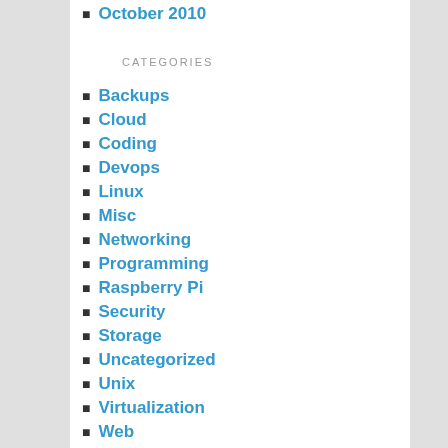October 2010
CATEGORIES
Backups
Cloud
Coding
Devops
Linux
Misc
Networking
Programming
Raspberry Pi
Security
Storage
Uncategorized
Unix
Virtualization
Web
META
Log in